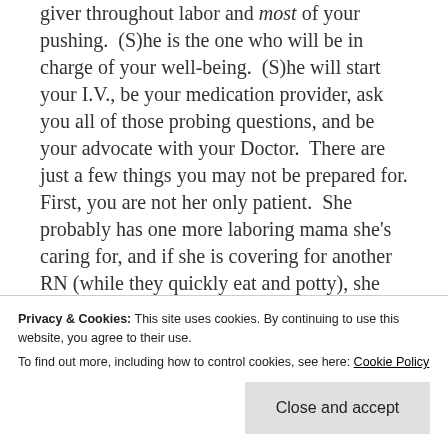giver throughout labor and most of your pushing. (S)he is the one who will be in charge of your well-being. (S)he will start your I.V., be your medication provider, ask you all of those probing questions, and be your advocate with your Doctor. There are just a few things you may not be prepared for. First, you are not her only patient. She probably has one more laboring mama she's caring for, and if she is covering for another RN (while they quickly eat and potty), she may be keeping an eye on one or two more. Second, these angels work 12 hour shifts.
Privacy & Cookies: This site uses cookies. By continuing to use this website, you agree to their use. To find out more, including how to control cookies, see here: Cookie Policy
labor, you may have 3 or 4 different Nurses